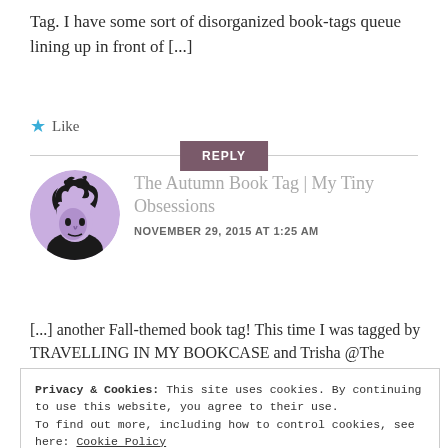Tag. I have some sort of disorganized book-tags queue lining up in front of [...]
★ Like
Reply
The Autumn Book Tag | My Tiny Obsessions
NOVEMBER 29, 2015 AT 1:25 AM
[Figure (photo): Circular avatar image showing a stylized black and purple portrait of a person with spiky hair]
[...] another Fall-themed book tag! This time I was tagged by TRAVELLING IN MY BOOKCASE and Trisha @The Bookgasm, thank you both so much. Now, let's do [...]
Privacy & Cookies: This site uses cookies. By continuing to use this website, you agree to their use.
To find out more, including how to control cookies, see here: Cookie Policy
Close and accept